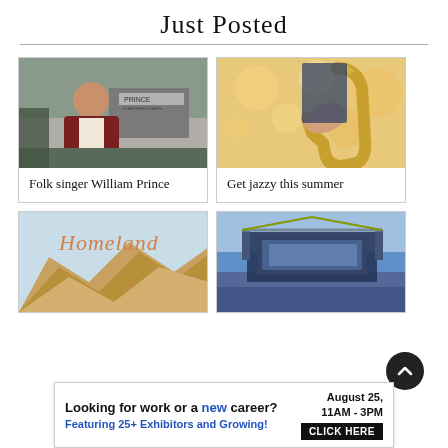Just Posted
[Figure (photo): Portrait of folk singer William Prince standing outside a building with a sign reading 'PRINCE', wearing a dark red blazer]
Folk singer William Prince
[Figure (photo): Close-up of a person playing a saxophone at an outdoor summer event with bokeh lights in the background]
Get jazzy this summer
[Figure (photo): Album cover or artwork with the word 'Homeland' in cursive lettering over stylized brown/tan mountain landscape]
[Figure (photo): Aerial photo of a large outdoor concert with a big stage and crowd under blue sky]
Looking for work or a new career? August 25, 11AM - 3PM Featuring 25+ Exhibitors and Growing! CLICK HERE